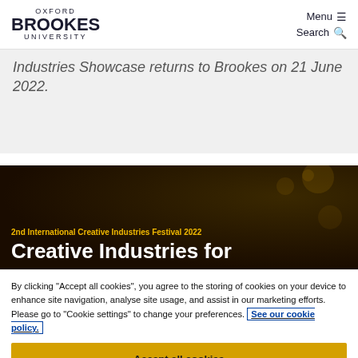OXFORD BROOKES UNIVERSITY | Menu ≡ | Search 🔍
Industries Showcase returns to Brookes on 21 June 2022.
[Figure (illustration): Dark banner with bokeh lights for 2nd International Creative Industries Festival 2022 showing text '2nd International Creative Industries Festival 2022' in gold and 'Creative Industries for' in white bold text.]
By clicking "Accept all cookies", you agree to the storing of cookies on your device to enhance site navigation, analyse site usage, and assist in our marketing efforts. Please go to "Cookie settings" to change your preferences. See our cookie policy.
Accept all cookies
Cookie settings